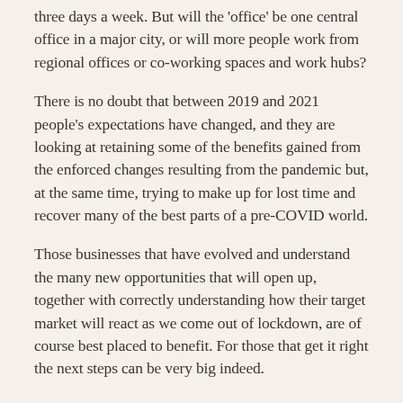three days a week. But will the 'office' be one central office in a major city, or will more people work from regional offices or co-working spaces and work hubs?
There is no doubt that between 2019 and 2021 people's expectations have changed, and they are looking at retaining some of the benefits gained from the enforced changes resulting from the pandemic but, at the same time, trying to make up for lost time and recover many of the best parts of a pre-COVID world.
Those businesses that have evolved and understand the many new opportunities that will open up, together with correctly understanding how their target market will react as we come out of lockdown, are of course best placed to benefit. For those that get it right the next steps can be very big indeed.